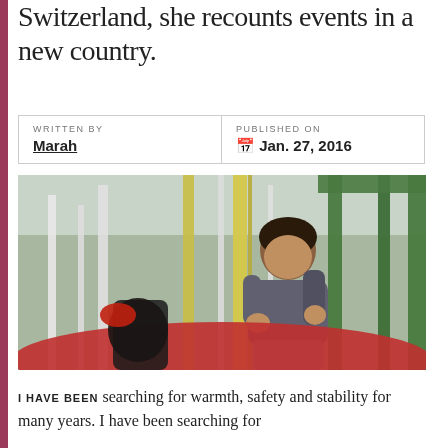Switzerland, she recounts events in a new country.
| WRITTEN BY | PUBLISHED ON |
| --- | --- |
| Marah | Jan. 27, 2016 |
[Figure (photo): A young child sitting on playground equipment, holding a pole, with green metal bars in the background.]
I HAVE BEEN searching for warmth, safety and stability for many years. I have been searching for...